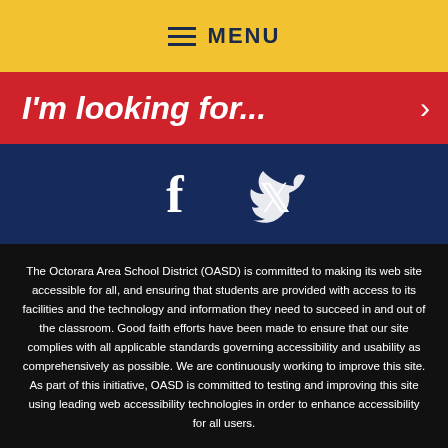MENU
I'm looking for...
[Figure (screenshot): Social media icons - Facebook and Twitter, white on dark blue background]
The Octorara Area School District (OASD) is committed to making its web site accessible for all, and ensuring that students are provided with access to its facilities and the technology and information they need to succeed in and out of the classroom. Good faith efforts have been made to ensure that our site complies with all applicable standards governing accessibility and usability as comprehensively as possible. We are continuously working to improve this site. As part of this initiative, OASD is committed to testing and improving this site using leading web accessibility technologies in order to enhance accessibility for all users.
[Figure (logo): Blackboard logo in blue text]